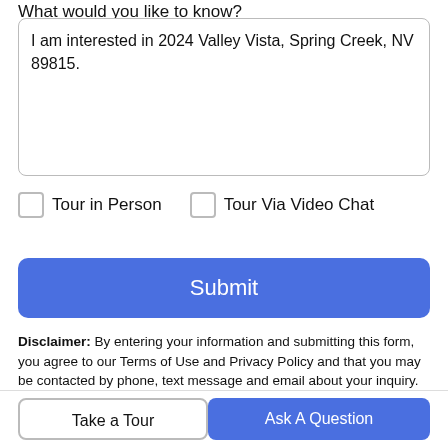What would you like to know?
I am interested in 2024 Valley Vista, Spring Creek, NV 89815.
Tour in Person
Tour Via Video Chat
Submit
Disclaimer: By entering your information and submitting this form, you agree to our Terms of Use and Privacy Policy and that you may be contacted by phone, text message and email about your inquiry.
Take a Tour
Ask A Question